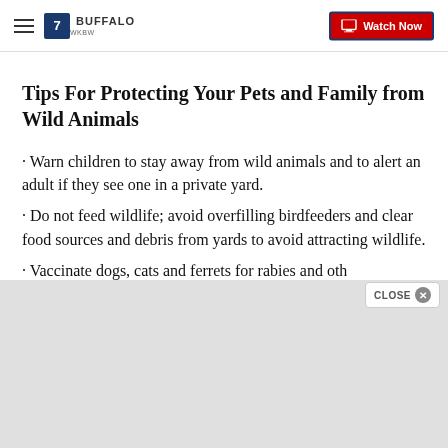WKBW 7 BUFFALO — Watch Now
Tips For Protecting Your Pets and Family from Wild Animals
· Warn children to stay away from wild animals and to alert an adult if they see one in a private yard.
· Do not feed wildlife; avoid overfilling birdfeeders and clear food sources and debris from yards to avoid attracting wildlife.
· Vaccinate dogs, cats and ferrets for rabies and other diseases recommended by a veterinarian.